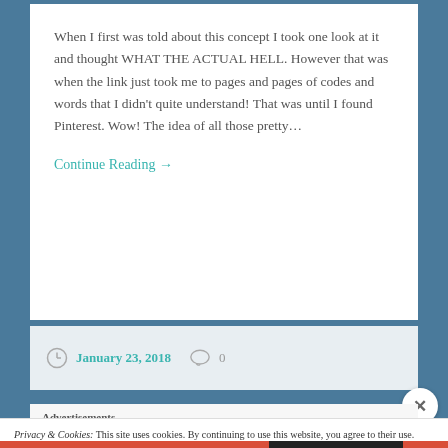When I first was told about this concept I took one look at it and thought WHAT THE ACTUAL HELL. However that was when the link just took me to pages and pages of codes and words that I didn't quite understand! That was until I found Pinterest. Wow! The idea of all those pretty...
Continue Reading →
January 23, 2018   0
Advertisements
Privacy & Cookies: This site uses cookies. By continuing to use this website, you agree to their use.
To find out more, including how to control cookies, see here: Cookie Policy
Close and accept